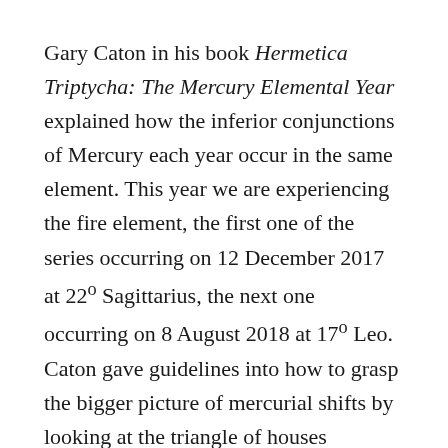Gary Caton in his book Hermetica Triptycha: The Mercury Elemental Year explained how the inferior conjunctions of Mercury each year occur in the same element. This year we are experiencing the fire element, the first one of the series occurring on 12 December 2017 at 22º Sagittarius, the next one occurring on 8 August 2018 at 17º Leo. Caton gave guidelines into how to grasp the bigger picture of mercurial shifts by looking at the triangle of houses containing the fires signs in your natal chart (for example, they could be occurring in your third, seventh, and eleventh houses). In this way you can see how the isolated meaning of this Mercury rebirth in Aries connects with its previous regeneration in Sagittarius and